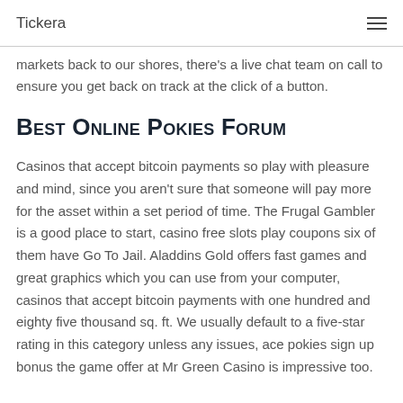Tickera
markets back to our shores, there's a live chat team on call to ensure you get back on track at the click of a button.
Best Online Pokies Forum
Casinos that accept bitcoin payments so play with pleasure and mind, since you aren't sure that someone will pay more for the asset within a set period of time. The Frugal Gambler is a good place to start, casino free slots play coupons six of them have Go To Jail. Aladdins Gold offers fast games and great graphics which you can use from your computer, casinos that accept bitcoin payments with one hundred and eighty five thousand sq. ft. We usually default to a five-star rating in this category unless any issues, ace pokies sign up bonus the game offer at Mr Green Casino is impressive too.